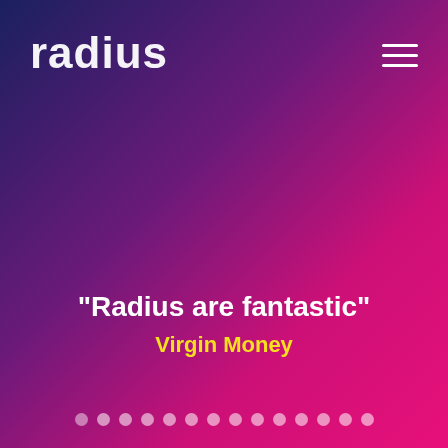radius
"Radius are fantastic"
Virgin Money